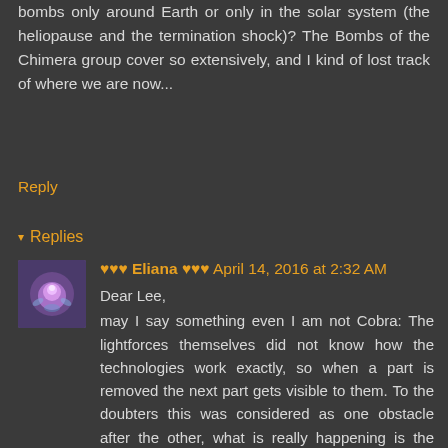bombs only around Earth or only in the solar system (the heliopause and the termination shock)? The Bombs of the Chimera group cover so extensively, and I kind of lost track of where we are now...
Reply
Replies
♥♥♥ Eliana ♥♥♥ April 14, 2016 at 2:32 AM
Dear Lee,
may I say something even I am not Cobra: The lightforces themselves did not know how the technologies work exactly, so when a part is removed the next part gets visible to them. To the doubters this was considered as one obstacle after the other, what is really happening is the lifting of the quarantine. Everything that happens, happens for the first time, so we just have to go on until we are there. Everyone who sees something with eyes closed and reports it, can help, because no one sees everything. So, the best is, if you try to see it yourself, just close your